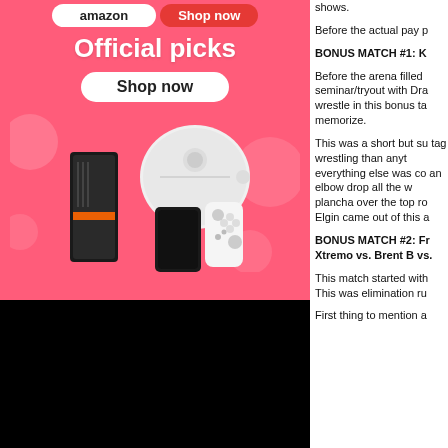[Figure (illustration): Pink advertisement banner showing 'Official picks' with a 'Shop now' button and product images including a robot vacuum, gaming console, and controller on a pink background with bubble decorations. Below the ad is a black rectangular area.]
shows.
Before the actual pay p
BONUS MATCH #1: K
Before the arena filled seminar/tryout with Dra wrestle in this bonus ta memorize.
This was a short but su tag wrestling than anyt everything else was co an elbow drop all the w plancha over the top ro Elgin came out of this a
BONUS MATCH #2: Fr Xtremo vs. Brent B vs.
This match started with This was elimination ru
First thing to mention a